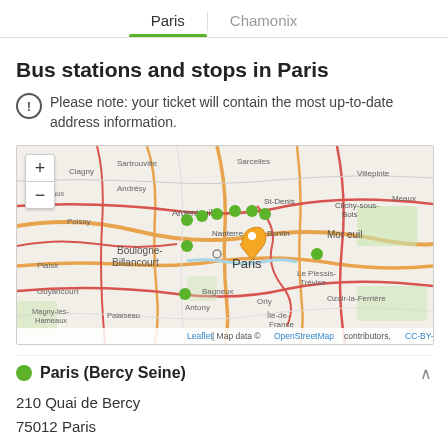Paris | Chamonix
Bus stations and stops in Paris
Please note: your ticket will contain the most up-to-date address information.
[Figure (map): Interactive map of Paris showing bus stop locations as green markers and an orange selected location pin near central Paris. Map includes surrounding suburbs like Argenteuil, Boulogne-Billancourt, Nanterre, Antony. Attribution: Leaflet | Map data © OpenStreetMap contributors, CC-BY-SA]
Paris (Bercy Seine)
210 Quai de Bercy
75012  Paris